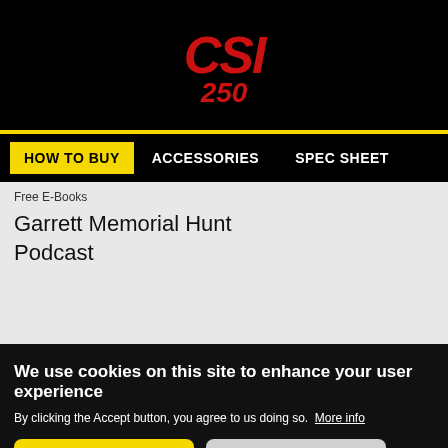[Figure (logo): CSI 250 logo in red italic text on black background]
HOW TO BUY   ACCESSORIES   SPEC SHEET
Free E-Books
Garrett Memorial Hunt
Podcast
We use cookies on this site to enhance your user experience
By clicking the Accept button, you agree to us doing so. More info
Accept   No, thanks